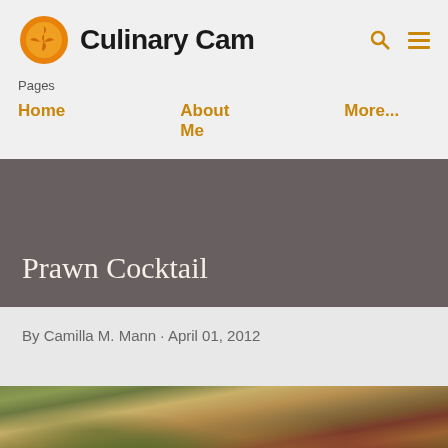Culinary Cam
Pages
Home
About Me
More...
Prawn Cocktail
By Camilla M. Mann · April 01, 2012
[Figure (photo): Food photo showing what appears to be a prawn cocktail dish with green avocado slices and other colorful ingredients on a plate]